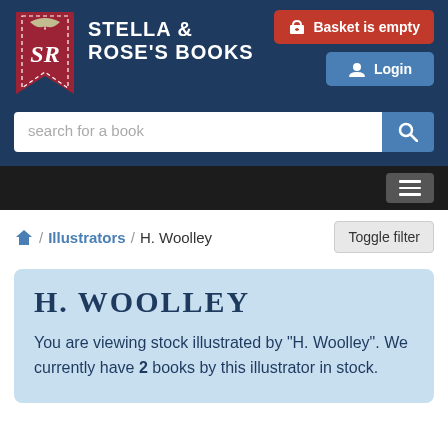[Figure (logo): Stella & Rose's Books logo — red bookmark with SR monogram and decorative bird]
STELLA & ROSE'S BOOKS
Basket is empty
Login
search for a book
/ Illustrators / H. Woolley
Toggle filter
H. WOOLLEY
You are viewing stock illustrated by "H. Woolley". We currently have 2 books by this illustrator in stock.